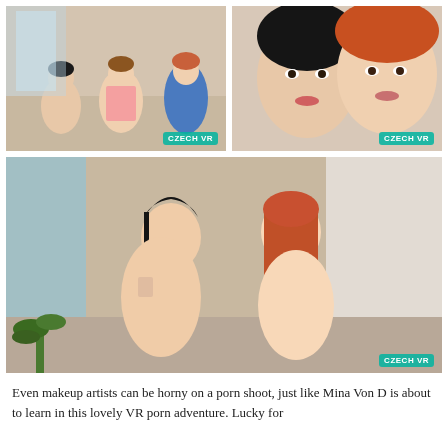[Figure (photo): Two photos side by side: left shows three women in a studio/indoor setting, right shows two women (one dark-haired, one redhead) in a close-up portrait]
[Figure (photo): Large main photo showing two nude women (one dark-haired, one redhead) in an explicit sexual scene with Czech VR watermark]
Even makeup artists can be horny on a porn shoot, just like Mina Von D is about to learn in this lovely VR porn adventure. Lucky for